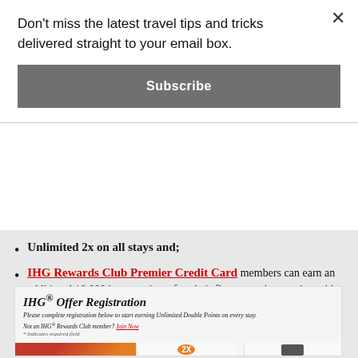Don't miss the latest travel tips and tricks delivered straight to your email box.
Subscribe
Unlimited 2x on all stays and;
IHG Rewards Club Premier Credit Card members can earn an additional 10,000 bonus points after their first stay when paying with the card (Note: Award stays are not eligible).
[Figure (screenshot): IHG Offer Registration form screenshot showing 'IHG® Offer Registration' title, subtitle 'Please complete registration below to start earning Unlimited Double Points on every stay.', a Join Now link, required field note, and three banner sections: a photo of a resort with 'Unlimited Double Points' text, a 2X orange circle with 'Double Your Points With Every Stay' text, and a credit card image with '10K More When You Use Your Credit Card' text.]